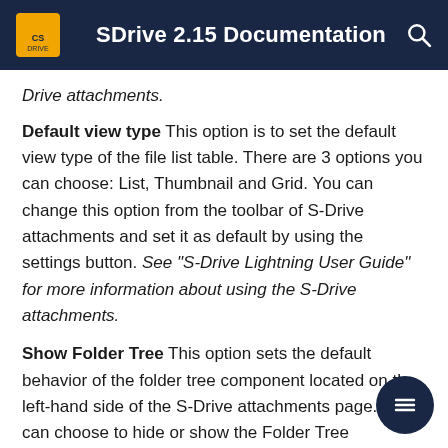SDrive 2.15 Documentation
Drive attachments.
Default view type This option is to set the default view type of the file list table. There are 3 options you can choose: List, Thumbnail and Grid. You can change this option from the toolbar of S-Drive attachments and set it as default by using the settings button. See "S-Drive Lightning User Guide" for more information about using the S-Drive attachments.
Show Folder Tree This option sets the default behavior of the folder tree component located on the left-hand side of the S-Drive attachments page. You can choose to hide or show the Folder Tree component by using the settings button on the toolbar